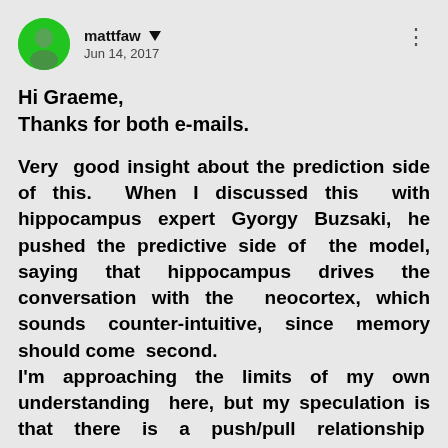mattfaw   Jun 14, 2017
Hi Graeme,
Thanks for both e-mails.
Very  good insight about the prediction side of this.  When I discussed this  with hippocampus expert Gyorgy Buzsaki, he pushed the predictive side of  the model, saying that hippocampus drives the conversation with the  neocortex, which sounds counter-intuitive, since memory should come  second. I'm approaching the limits of my own understanding  here, but my speculation is that there is a push/pull relationship  between the hippocampus and neocortex.  Of course, as described in the  paper, news reports from all over the brain meet at the entorhinal  cortex to be prepared for binding within the